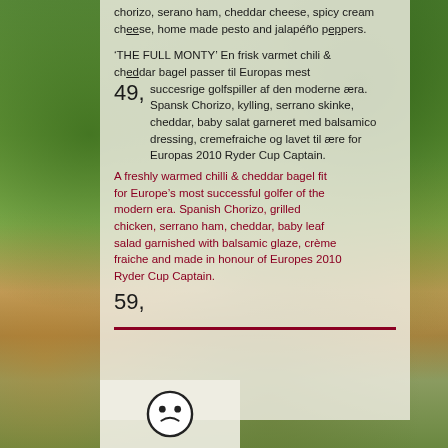chorizo, serano ham, cheddar cheese, spicy cream cheese, home made pesto and jalapéño peppers.
'THE FULL MONTY' En frisk varmet chili & cheddar bagel passer til Europas mest succesrige golfspiller af den moderne æra. Spansk Chorizo, kylling, serrano skinke, cheddar, baby salat garneret med balsamico dressing, cremefraiche og lavet til ære for Europas 2010 Ryder Cup Captain.
A freshly warmed chilli & cheddar bagel fit for Europe's most successful golfer of the modern era. Spanish Chorizo, grilled chicken, serrano ham, cheddar, baby leaf salad garnished with balsamic glaze, crème fraiche and made in honour of Europes 2010 Ryder Cup Captain.
49,-
59,-
[Figure (photo): Outdoor garden background with green trees, shrubs, flowers, and a paved path. A white pillar visible in center. Bottom shows chairs/furniture and yellow flowers.]